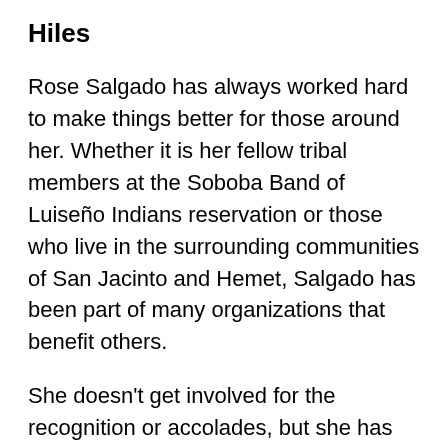Hiles
Rose Salgado has always worked hard to make things better for those around her. Whether it is her fellow tribal members at the Soboba Band of Luiseño Indians reservation or those who live in the surrounding communities of San Jacinto and Hemet, Salgado has been part of many organizations that benefit others.
She doesn't get involved for the recognition or accolades, but she has received many over the years due to her successful and countless contributions. Salgado has twice received the 'Woman of the Year' Award from the Hemet/San Jacinto Chamber of Commerce. Her latest honor